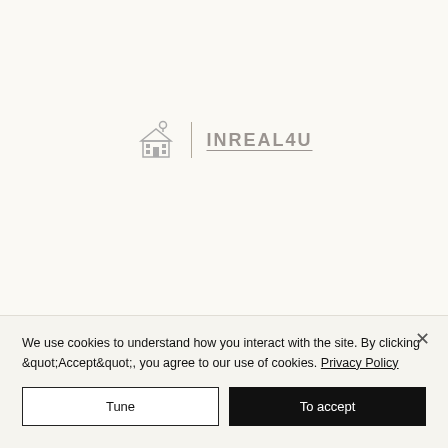[Figure (logo): INREAL4U logo with a house/building icon on the left, a vertical divider, and the text INREAL4U with an underline on the right, in gray tones]
We use cookies to understand how you interact with the site. By clicking &quot;Accept&quot;, you agree to our use of cookies. Privacy Policy
Tune
To accept